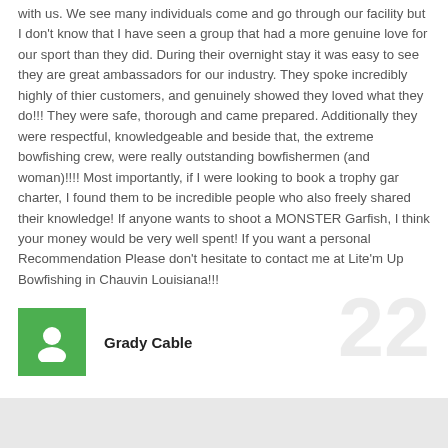with us. We see many individuals come and go through our facility but I don't know that I have seen a group that had a more genuine love for our sport than they did. During their overnight stay it was easy to see they are great ambassadors for our industry. They spoke incredibly highly of thier customers, and genuinely showed they loved what they do!!! They were safe, thorough and came prepared. Additionally they were respectful, knowledgeable and beside that, the extreme bowfishing crew, were really outstanding bowfishermen (and woman)!!!! Most importantly, if I were looking to book a trophy gar charter, I found them to be incredible people who also freely shared their knowledge! If anyone wants to shoot a MONSTER Garfish, I think your money would be very well spent! If you want a personal Recommendation Please don't hesitate to contact me at Lite'm Up Bowfishing in Chauvin Louisiana!!!
Grady Cable